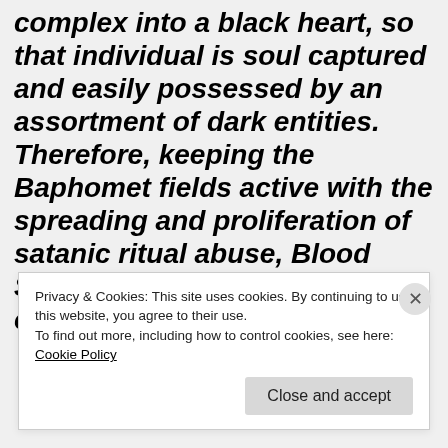complex into a black heart, so that individual is soul captured and easily possessed by an assortment of dark entities. Therefore, keeping the Baphomet fields active with the spreading and proliferation of satanic ritual abuse, Blood Sacrifice and sexual depravity, ensured that the…
Privacy & Cookies: This site uses cookies. By continuing to use this website, you agree to their use.
To find out more, including how to control cookies, see here: Cookie Policy